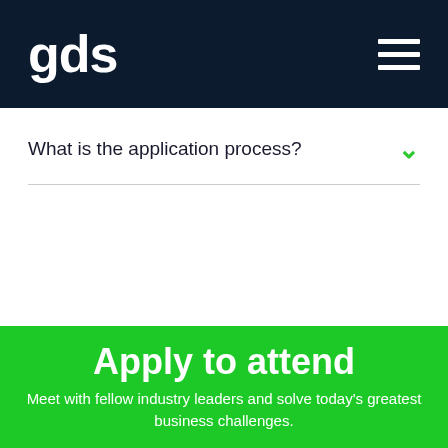gds
What is the application process?
Apply to attend
Meet with fellow industry leaders and solve today's greatest business challenges.